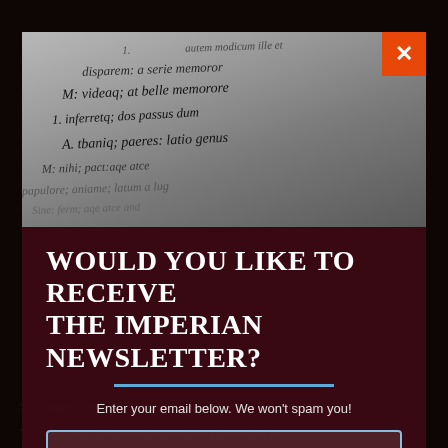[Figure (screenshot): Modal popup overlay on a dark red/brown background. The modal shows a grayscale image of an old manuscript with cursive Latin text, an orange close button (X) in the top right corner, and a dark maroon lower section with newsletter subscription UI.]
WOULD YOU LIKE TO RECEIVE THE IMPERIAN NEWSLETTER?
Enter your email below. We won't spam you!
Your Email
SUBSCRIBE NOW!
The change to get entered items has been reduced.
The new consumables from last month have been added to